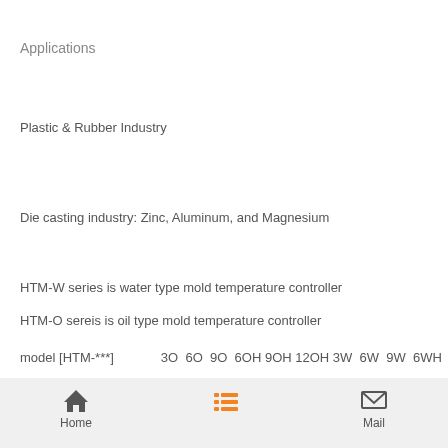Applications
Plastic & Rubber Industry
Die casting industry: Zinc, Aluminum, and Magnesium
HTM-W series is water type mold temperature controller
HTM-O sereis is oil type mold temperature controller
model [HTM-***]   3O  6O  9O  6OH 9OH 12OH 3W  6W  9W  6WH
Contact Now
Home   Mail